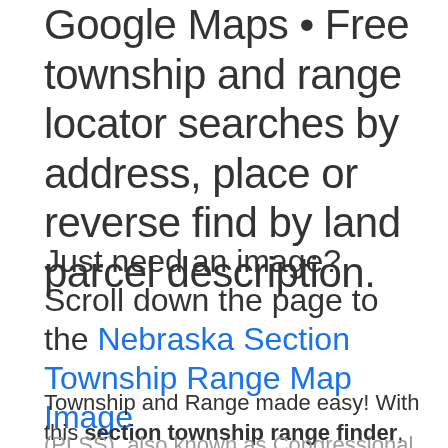Google Maps • Free township and range locator searches by address, place or reverse find by land parcel description.
Just need an image? Scroll down the page to the Nebraska Section Township Range Map Image
Township and Range made easy! With this section township range finder, you can view and search the Public Land Survey System (PLSS), also known as Congressional townships or survey townships, all the way down to the